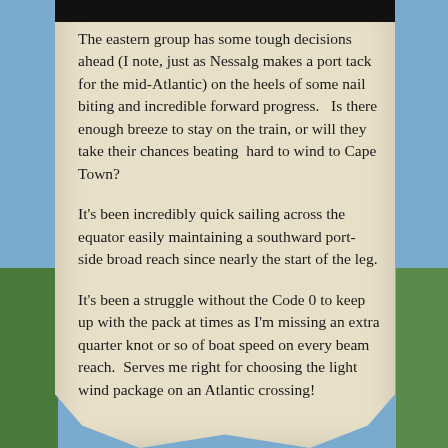The eastern group has some tough decisions ahead (I note, just as Nessalg makes a port tack for the mid-Atlantic) on the heels of some nail biting and incredible forward progress.   Is there enough breeze to stay on the train, or will they take their chances beating  hard to wind to Cape Town?
It's been incredibly quick sailing across the equator easily maintaining a southward port-side broad reach since nearly the start of the leg.
It's been a struggle without the Code 0 to keep up with the pack at times as I'm missing an extra quarter knot or so of boat speed on every beam reach.  Serves me right for choosing the light wind package on an Atlantic crossing!